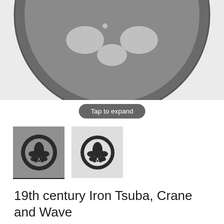[Figure (photo): Close-up top portion of a circular iron tsuba (Japanese sword guard) with cutout designs, shown on a light grey background.]
Tap to expand
[Figure (photo): Two thumbnail images of the iron tsuba. First thumbnail has grey background (selected, underlined). Second thumbnail has light grey background.]
19th century Iron Tsuba, Crane and Wave
£420
T16